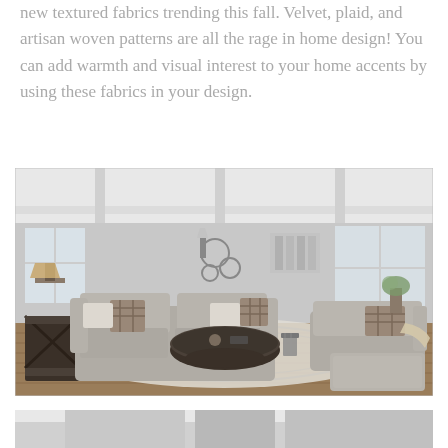new textured fabrics trending this fall. Velvet, plaid, and artisan woven patterns are all the rage in home design! You can add warmth and visual interest to your home accents by using these fabrics in your design.
[Figure (photo): Interior living room photo showing a cozy grey upholstered sofa and loveseat with plaid throw pillows, a dark round coffee table with X-base detailing, an ottoman, side table, area rug, wall mirrors, and large windows with natural light.]
[Figure (photo): Partial view of another interior room scene, cropped at bottom of page.]